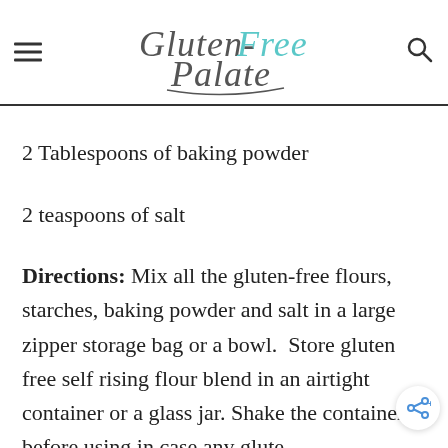Gluten-Free Palate
2 Tablespoons of baking powder
2 teaspoons of salt
Directions: Mix all the gluten-free flours, starches, baking powder and salt in a large zipper storage bag or a bowl. Store gluten free self rising flour blend in an airtight container or a glass jar. Shake the container before using in case any glute…